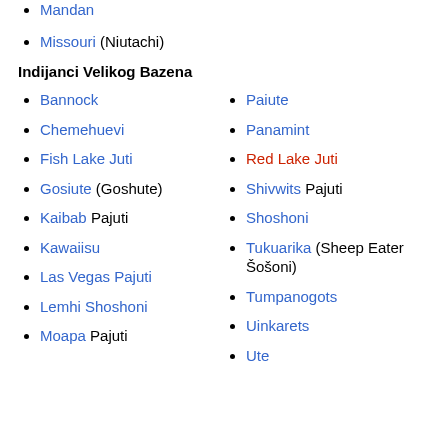Mandan
Missouri (Niutachi)
Indijanci Velikog Bazena
Bannock
Paiute
Chemehuevi
Panamint
Fish Lake Juti
Red Lake Juti
Gosiute (Goshute)
Shivwits Pajuti
Kaibab Pajuti
Shoshoni
Kawaiisu
Tukuarika (Sheep Eater Šošoni)
Las Vegas Pajuti
Tumpanogots
Lemhi Shoshoni
Uinkarets
Moapa Pajuti
Ute